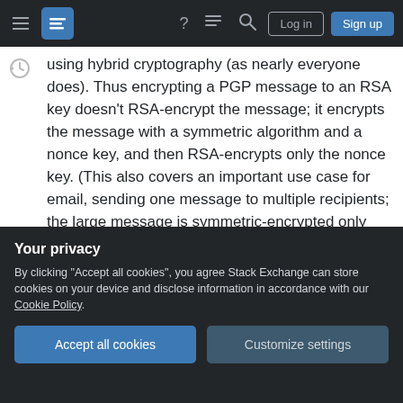Stack Exchange navigation bar with hamburger menu, logo, help, chat, search icons, Log in and Sign up buttons
using hybrid cryptography (as nearly everyone does). Thus encrypting a PGP message to an RSA key doesn't RSA-encrypt the message; it encrypts the message with a symmetric algorithm and a nonce key, and then RSA-encrypts only the nonce key. (This also covers an important use case for email, sending one message to multiple recipients; the large message is symmetric-encrypted only once, while the small nonce key is PK-encrypted separately for each recipient.) Signing a PGP message actually computes a hash of the message
Your privacy
By clicking "Accept all cookies", you agree Stack Exchange can store cookies on your device and disclose information in accordance with our Cookie Policy.
encryption and decryption works using m^ed mod n